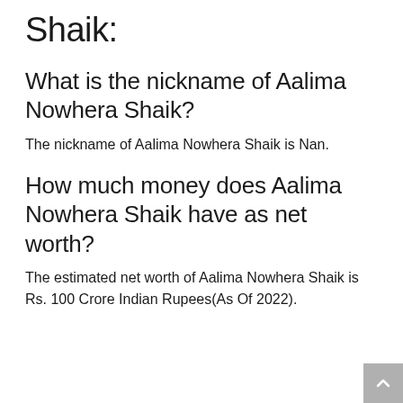Shaik:
What is the nickname of Aalima Nowhera Shaik?
The nickname of Aalima Nowhera Shaik is Nan.
How much money does Aalima Nowhera Shaik have as net worth?
The estimated net worth of Aalima Nowhera Shaik is Rs. 100 Crore Indian Rupees(As Of 2022).